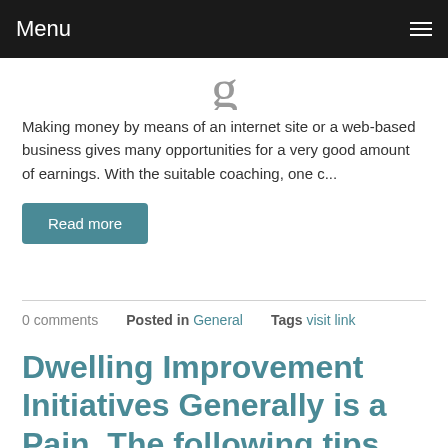Menu
Making money by means of an internet site or a web-based business gives many opportunities for a very good amount of earnings. With the suitable coaching, one c...
Read more
0 comments   Posted in General   Tags visit link
Dwelling Improvement Initiatives Generally is a Pain. The following tips Will Make Your Challenge Go